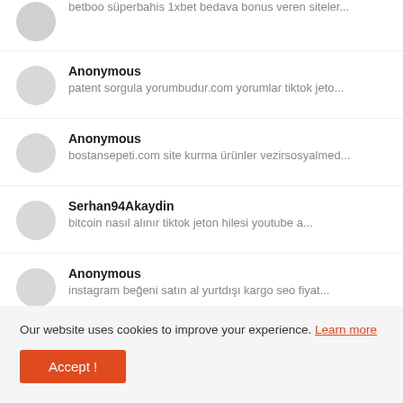betboo süperbahis 1xbet bedava bonus veren siteler...
Anonymous — patent sorgula yorumbudur.com yorumlar tiktok jeto...
Anonymous — bostansepeti.com site kurma ürünler vezirsosyalmed...
Serhan94Akaydin — bitcoin nasıl alınır tiktok jeton hilesi youtube a...
Anonymous — instagram beğeni satın al yurtdışı kargo seo fiyat...
Our website uses cookies to improve your experience. Learn more
Accept !